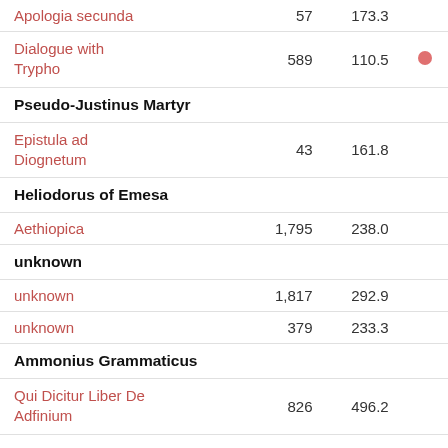| Title |  |  |  |
| --- | --- | --- | --- |
| Apologia secunda | 57 | 173.3 |  |
| Dialogue with Trypho | 589 | 110.5 | ● |
| Pseudo-Justinus Martyr |  |  |  |
| Epistula ad Diognetum | 43 | 161.8 |  |
| Heliodorus of Emesa |  |  |  |
| Aethiopica | 1,795 | 238.0 |  |
| unknown |  |  |  |
| unknown | 1,817 | 292.9 |  |
| unknown | 379 | 233.3 |  |
| Ammonius Grammaticus |  |  |  |
| Qui Dicitur Liber De Adfinium | 826 | 496.2 |  |